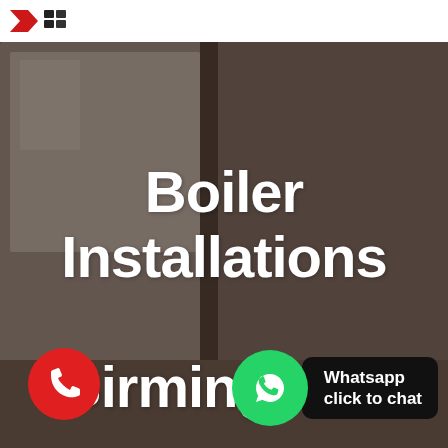[Figure (logo): Red and dark chevron/arrow logo marks in header]
[Figure (photo): Dark moody photo of a boiler/appliance in a kitchen or utility room, used as full-page background]
Boiler Installations Birmingham
[Figure (infographic): Red circular call button with phone handset icon, bottom left]
[Figure (infographic): Green WhatsApp icon circle with white handset, and black label 'Whatsapp click to chat', bottom right]